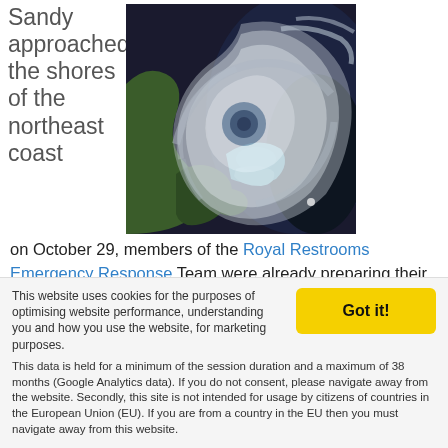Sandy approached the shores of the northeast coast
[Figure (photo): Satellite image of Hurricane Sandy approaching the northeast coast of the United States, showing the hurricane's spiral cloud formation over the Atlantic Ocean and southeastern US coast.]
on October 29, members of the Royal Restrooms Emergency Response Team were already preparing their fleet of emergency restroom trailers and shower trailers for deployment. As final notices for restroom needs came through from the Department of Homeland Security, the
This website uses cookies for the purposes of optimising website performance, understanding you and how you use the website, for marketing purposes. This data is held for a minimum of the session duration and a maximum of 38 months (Google Analytics data). If you do not consent, please navigate away from the website. Secondly, this site is not intended for usage by citizens of countries in the European Union (EU). If you are from a country in the EU then you must navigate away from this website.